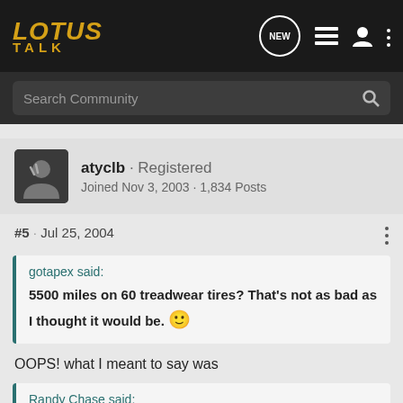[Figure (logo): Lotus Talk forum logo in gold italic text]
Search Community
[Figure (photo): Avatar of user atyclb showing a person making a peace sign]
atyclb · Registered
Joined Nov 3, 2003 · 1,834 Posts
#5 · Jul 25, 2004
gotapex said:
5500 miles on 60 treadwear tires? That's not as bad as I thought it would be. 🙂
OOPS! what I meant to say was
Randy Chase said: